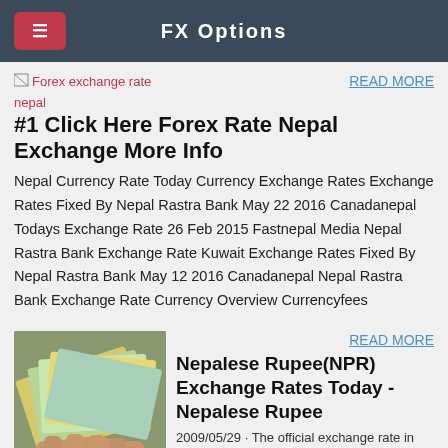FX Options
[Figure (screenshot): Broken image placeholder labeled 'Forex exchange rate nepal' in red text]
READ MORE
#1 Click Here Forex Rate Nepal Exchange More Info
Nepal Currency Rate Today Currency Exchange Rates Exchange Rates Fixed By Nepal Rastra Bank May 22 2016 Canadanepal Todays Exchange Rate 26 Feb 2015 Fastnepal Media Nepal Rastra Bank Exchange Rate Kuwait Exchange Rates Fixed By Nepal Rastra Bank May 12 2016 Canadanepal Nepal Rastra Bank Exchange Rate Currency Overview Currencyfees
[Figure (photo): Photo of a hand holding a fan of Nepalese Rupee banknotes]
READ MORE
Nepalese Rupee(NPR) Exchange Rates Today - Nepalese Rupee
2009/05/29 · The official exchange rate in